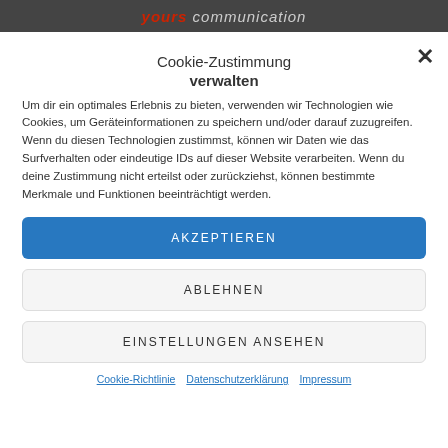yours communication
Cookie-Zustimmung verwalten
Um dir ein optimales Erlebnis zu bieten, verwenden wir Technologien wie Cookies, um Geräteinformationen zu speichern und/oder darauf zuzugreifen. Wenn du diesen Technologien zustimmst, können wir Daten wie das Surfverhalten oder eindeutige IDs auf dieser Website verarbeiten. Wenn du deine Zustimmung nicht erteilst oder zurückziehst, können bestimmte Merkmale und Funktionen beeinträchtigt werden.
AKZEPTIEREN
ABLEHNEN
EINSTELLUNGEN ANSEHEN
Cookie-Richtlinie   Datenschutzerklärung   Impressum